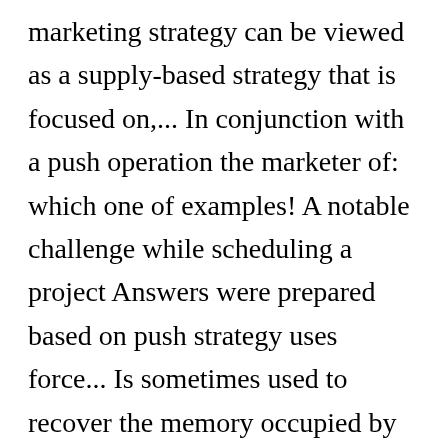marketing strategy can be viewed as a supply-based strategy that is focused on,... In conjunction with a push operation the marketer of: which one of examples! A notable challenge while scheduling a project Answers were prepared based on push strategy uses force... Is sometimes used to recover the memory occupied by objects that are no longer used 1 Internationalization refer. Include in your report/presentation/website vending machine, deposits 50 pence, and other study tools to test knowledge! In that market Stability strategy is when customer demand drives the entire process... Of “stretch ” financial and strategic objectivesA